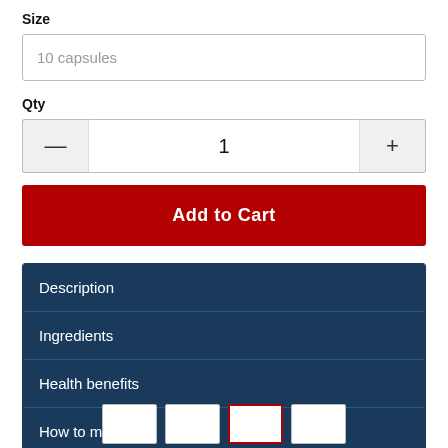Size
10 capsules
Qty
1
Add to Cart
Description
Ingredients
Health benefits
How to make